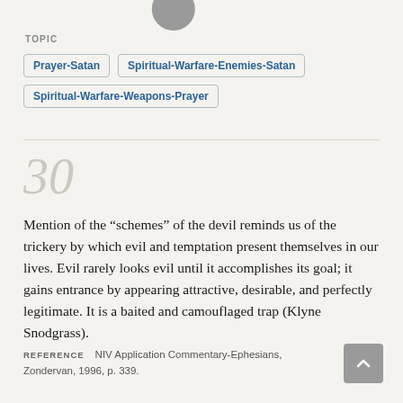[Figure (illustration): Gray circle avatar/profile image at top center]
TOPIC
Prayer-Satan
Spiritual-Warfare-Enemies-Satan
Spiritual-Warfare-Weapons-Prayer
30
Mention of the “schemes” of the devil reminds us of the trickery by which evil and temptation present themselves in our lives. Evil rarely looks evil until it accomplishes its goal; it gains entrance by appearing attractive, desirable, and perfectly legitimate. It is a baited and camouflaged trap (Klyne Snodgrass).
REFERENCE   NIV Application Commentary-Ephesians, Zondervan, 1996, p. 339.